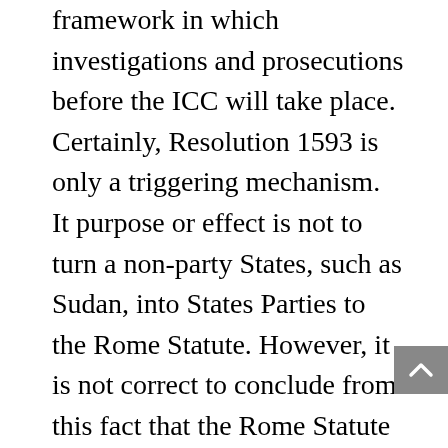framework in which investigations and prosecutions before the ICC will take place. Certainly, Resolution 1593 is only a triggering mechanism.  It purpose or effect is not to turn a non-party States, such as Sudan, into States Parties to the Rome Statute. However, it is not correct to conclude from this fact that the Rome Statute is not applicable to this situation. In fact, such an approach means to request the Prosecutor and ICC judges to intervene in this situation outside any previously defined legal framework, whereas they derive their official capacity from the Rome Statute. This argument (of the non-applicability of the Rome Statute to the Darfur referral) would have been defendable if it had relied on the idea that the